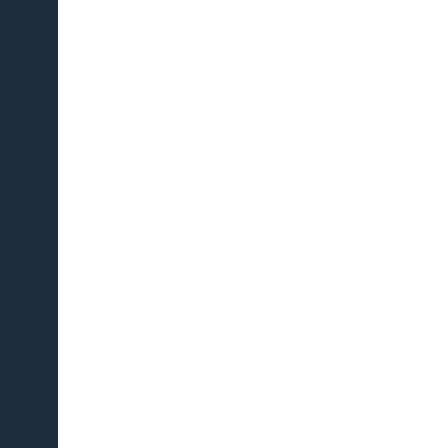Co
RA/p
The
evil
The
jona
Grea parts
Kee